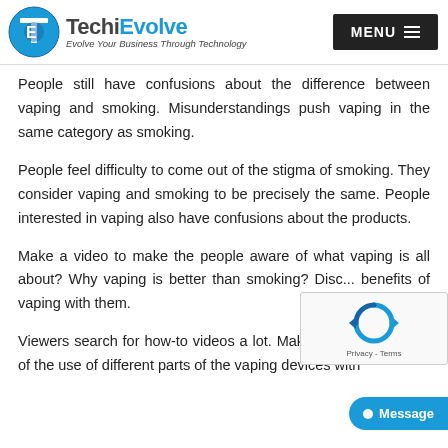TechiEvolve — Evolve Your Business Through Technology | MENU
People still have confusions about the difference between vaping and smoking. Misunderstandings push vaping in the same category as smoking.
People feel difficulty to come out of the stigma of smoking. They consider vaping and smoking to be precisely the same. People interested in vaping also have confusions about the products.
Make a video to make the people aware of what vaping is all about? Why vaping is better than smoking? Disc... benefits of vaping with them.
Viewers search for how-to videos a lot. Make the people aware of the use of different parts of the vaping devices with